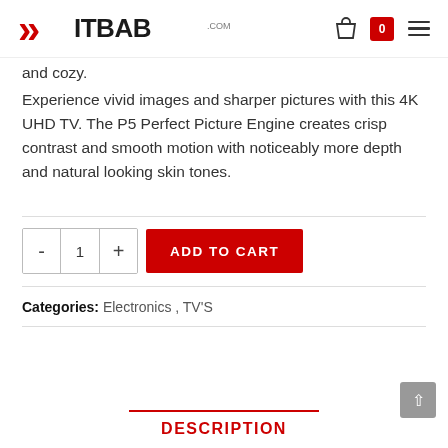BITBAB.COM
and cozy.
Experience vivid images and sharper pictures with this 4K UHD TV. The P5 Perfect Picture Engine creates crisp contrast and smooth motion with noticeably more depth and natural looking skin tones.
Categories: Electronics, TV'S
DESCRIPTION